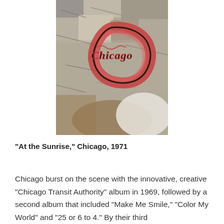[Figure (photo): Album cover art showing the Chicago band logo — stylized text reading 'Chicago' in red and brown outlined letters on a textured stone or rock background with muted grey-brown tones and some orange/earth color accents.]
“At the Sunrise,” Chicago, 1971
Chicago burst on the scene with the innovative, creative “Chicago Transit Authority” album in 1969, followed by a second album that included “Make Me Smile,” “Color My World” and “25 or 6 to 4.” By their third